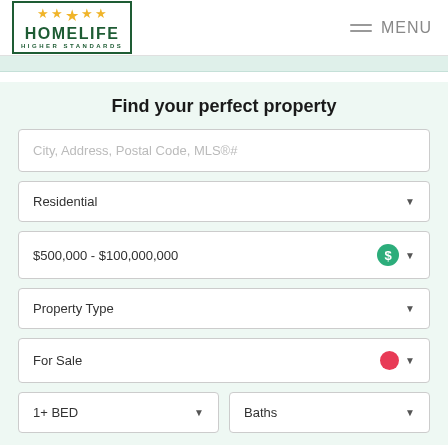[Figure (logo): HomeLife Higher Standards logo with gold stars and green border]
MENU
Find your perfect property
City, Address, Postal Code, MLS®#
Residential
$500,000 - $100,000,000
Property Type
For Sale
1+ BED
Baths